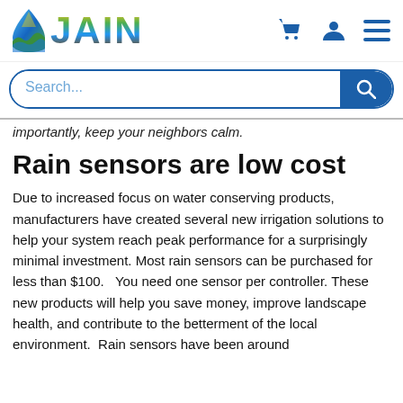[Figure (logo): JAIN Irrigation logo with a water drop icon and colorful JAIN text]
[Figure (screenshot): Website header icons: shopping cart, user account, and hamburger menu in dark blue]
[Figure (screenshot): Search bar with placeholder text 'Search...' and a dark blue search button with magnifier icon]
importantly, keep your neighbors calm.
Rain sensors are low cost
Due to increased focus on water conserving products, manufacturers have created several new irrigation solutions to help your system reach peak performance for a surprisingly minimal investment. Most rain sensors can be purchased for less than $100.   You need one sensor per controller. These new products will help you save money, improve landscape health, and contribute to the betterment of the local environment.  Rain sensors have been around